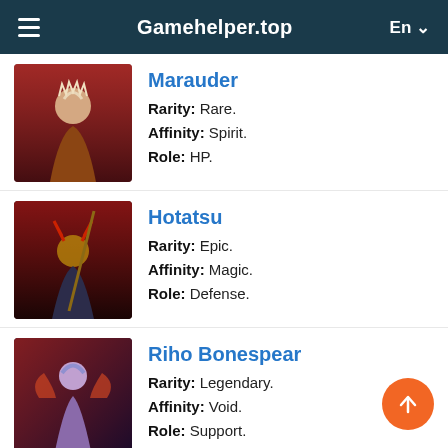Gameheader.top
Marauder — Rarity: Rare. Affinity: Spirit. Role: HP.
Hotatsu — Rarity: Epic. Affinity: Magic. Role: Defense.
Riho Bonespear — Rarity: Legendary. Affinity: Void. Role: Support.
Skimfos the Consumed — Rarity: Epic.